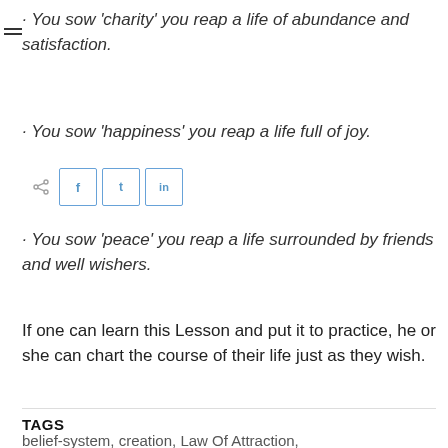· You sow 'charity' you reap a life of abundance and satisfaction.
· You sow 'happiness' you reap a life full of joy.
· You sow 'peace' you reap a life surrounded by friends and well wishers.
If one can learn this Lesson and put it to practice, he or she can chart the course of their life just as they wish.
TAGS
belief-system, creation, Law Of Attraction,